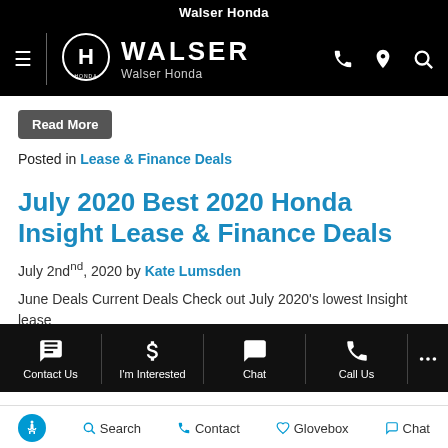Walser Honda
[Figure (screenshot): Walser Honda navigation bar with hamburger menu, Honda logo, WALSER brand name, and icons for phone, location, and search]
Read More
Posted in Lease & Finance Deals
July 2020 Best 2020 Honda Insight Lease & Finance Deals
July 2nd, 2020 by Kate Lumsden
June Deals Current Deals Check out July 2020's lowest Insight lease
Contact Us | I'm Interested | Chat | Call Us | Search | Contact | Glovebox | Chat